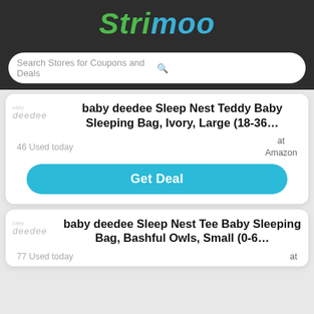Strimoo
Search Stores for Coupons and Deals
baby deedee Sleep Nest Teddy Baby Sleeping Bag, Ivory, Large (18-36...
46 Used today
at Amazon
Get Deal
baby deedee Sleep Nest Tee Baby Sleeping Bag, Bashful Owls, Small (0-6...
77 Used today
at